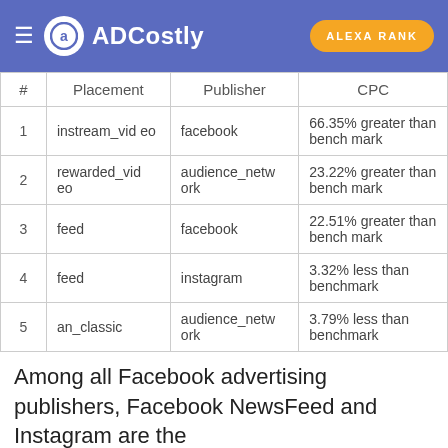ADCostly | ALEXA RANK
| # | Placement | Publisher | CPC |
| --- | --- | --- | --- |
| 1 | instream_video | facebook | 66.35% greater than benchmark |
| 2 | rewarded_video | audience_network | 23.22% greater than benchmark |
| 3 | feed | facebook | 22.51% greater than benchmark |
| 4 | feed | instagram | 3.32% less than benchmark |
| 5 | an_classic | audience_network | 3.79% less than benchmark |
Among all Facebook advertising publishers, Facebook NewsFeed and Instagram are the